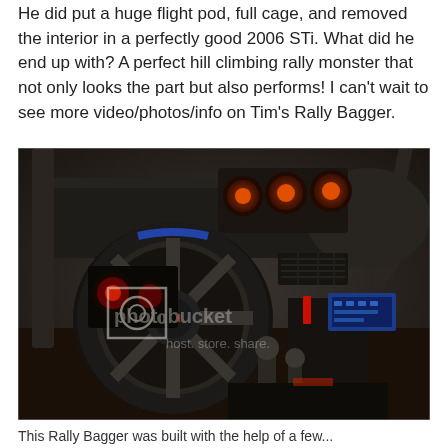He did put a huge flight pod, full cage, and removed the interior in a perfectly good 2006 STi. What did he end up with? A perfect hill climbing rally monster that not only looks the part but also performs! I can't wait to see more video/photos/info on Tim's Rally Bagger.
[Figure (photo): Interior of a stripped 2006 Subaru STi rally car showing the steering wheel, roll cage bars, custom gauge cluster with orange/red lighting, stripped dashboard, and exposed transmission and gear shifter. A Photobucket watermark is visible over the image.]
This Rally Bagger was built with the help of a few...